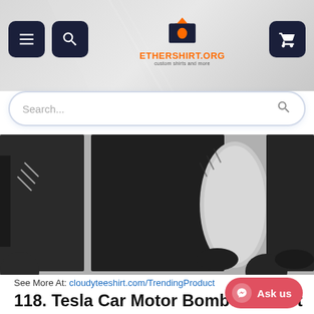[Figure (screenshot): E-commerce website header with navigation icons (hamburger menu, search), ethershirt.org logo with orange t-shirt icon, and shopping cart button on dark navy background with decorative diagonal stripes]
[Figure (screenshot): Search bar with rounded border and placeholder text 'Search...' with search icon]
[Figure (photo): Black and white photo of hanging jackets/bomber jackets displayed in a row]
See More At: cloudyteeshirt.com/TrendingProduct
118. Tesla Car Motor Bomber Jacket
[Figure (photo): Partial view of a red Tesla Car Motor Bomber Jacket at the bottom of the page]
[Figure (screenshot): Ask us button (Messenger-style) in red/pink color at bottom right corner]